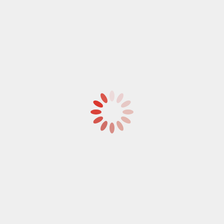[Figure (other): A loading spinner graphic consisting of 12 oval/ellipse shapes arranged in a circle. The ovals rotate from fully opaque red on the left side to increasingly transparent pink/light pink on the right side, creating a classic loading indicator animation frame.]